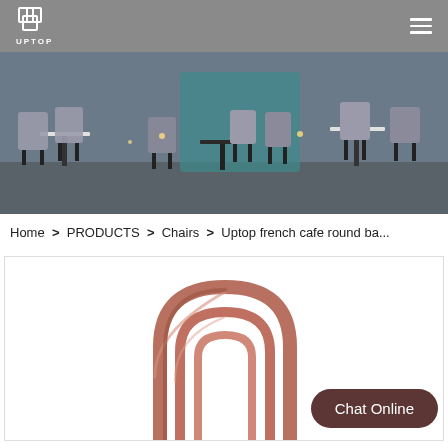UPTOP — navigation header with logo and hamburger menu
[Figure (photo): Interior of a modern cafe or restaurant with grey upholstered chairs and dark metal legs around round tables, teal bar area in background]
Home > PRODUCTS > Chairs > Uptop french cafe round ba...
[Figure (photo): Close-up product photo of a rose-gold/copper colored metal chair back frame with curved arch design]
Chat Online